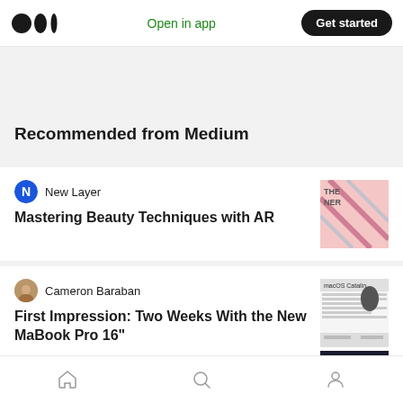Open in app  Get started
Recommended from Medium
New Layer
Mastering Beauty Techniques with AR
Cameron Baraban
First Impression: Two Weeks With the New MaBook Pro 16"
Home  Search  Profile